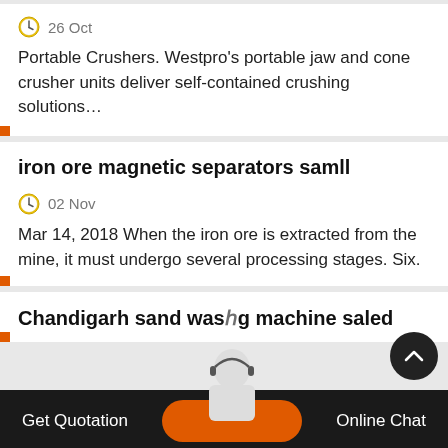26 Oct
Portable Crushers. Westpro’s portable jaw and cone crusher units deliver self-contained crushing solutions…
iron ore magnetic separators samll
02 Nov
Mar 14, 2018 When the iron ore is extracted from the mine, it must undergo several processing stages. Six.
Chandigarh sand was…g machine saled
Get Quotation   Online Chat